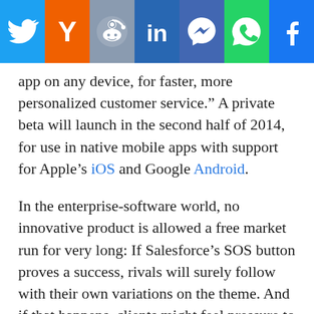[Figure (infographic): Social sharing bar with icons for Twitter, Hacker News (Y), Reddit, LinkedIn, Messenger, WhatsApp, and Facebook]
app on any device, for faster, more personalized customer service.” A private beta will launch in the second half of 2014, for use in native mobile apps with support for Apple’s iOS and Google Android.
In the enterprise-software world, no innovative product is allowed a free market run for very long: If Salesforce’s SOS button proves a success, rivals will surely follow with their own variations on the theme. And if that happens, clients might feel pressure to bulk up their customer-service operations to handle the demand stemming from an easy-to-tap button; for those who build and maintain such operations, that pressure could lead to more work. But it all depends on other companies following Salesforce’s lead.